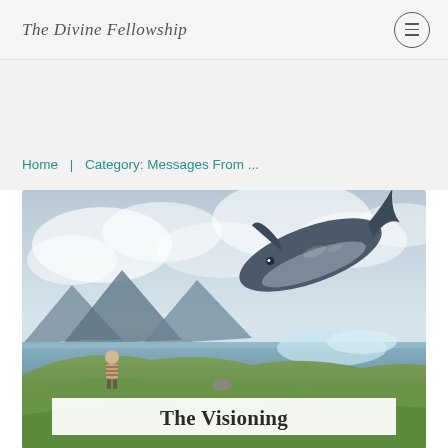The Divine Fellowship
Home | Category: Messages From ...
[Figure (photo): Fantasy surreal photo of a child standing on green hills looking at a giant whale leaping out of water into a cloudy sky with mountains in background]
The Visioning